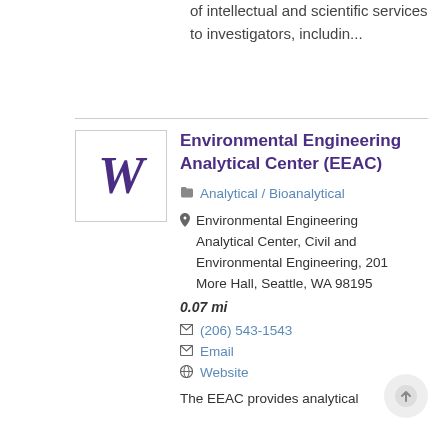of intellectual and scientific services to investigators, includin...
Environmental Engineering Analytical Center (EEAC)
Analytical / Bioanalytical
Environmental Engineering Analytical Center, Civil and Environmental Engineering, 201 More Hall, Seattle, WA 98195
0.07 mi
(206) 543-1543
Email
Website
The EEAC provides analytical instrumentation and...
[Figure (logo): University of Washington W logo in purple on white background with border]